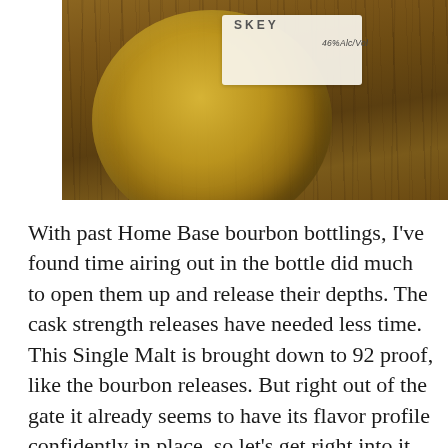[Figure (photo): Close-up photo of a whiskey bottle on a wooden table. The bottle contains golden amber liquid. The label shows partial text 'SKEY' and '46% Alc/Vol'. The wooden surface has visible grain lines.]
With past Home Base bourbon bottlings, I've found time airing out in the bottle did much to open them up and release their depths. The cask strength releases have needed less time. This Single Malt is brought down to 92 proof, like the bourbon releases. But right out of the gate it already seems to have its flavor profile confidently in place, so let's get right into it.